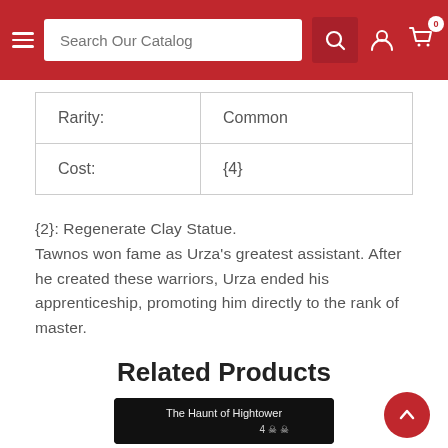Search Our Catalog
| Rarity: | Common |
| Cost: | {4} |
{2}: Regenerate Clay Statue.
Tawnos won fame as Urza's greatest assistant. After he created these warriors, Urza ended his apprenticeship, promoting him directly to the rank of master.
Related Products
[Figure (photo): The Haunt of Hightower card image (partially visible at bottom)]